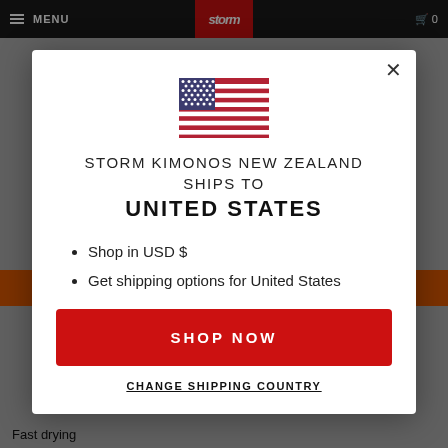[Figure (screenshot): Website modal popup for Storm Kimonos New Zealand shipping selector, showing US flag, destination notice, list items, Shop Now button, and Change Shipping Country link, on a dimmed e-commerce background.]
Storm Kimonos New Zealand ships to United States
Shop in USD $
Get shipping options for United States
SHOP NOW
CHANGE SHIPPING COUNTRY
Fast drying